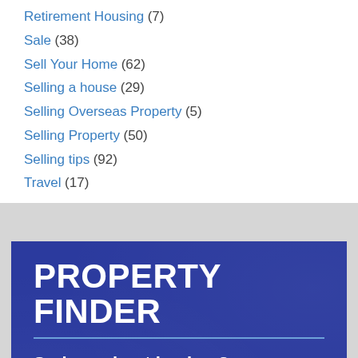Retirement Housing (7)
Sale (38)
Sell Your Home (62)
Selling a house (29)
Selling Overseas Property (5)
Selling Property (50)
Selling tips (92)
Travel (17)
PROPERTY FINDER
Serious about buying ?
Let us help source the ideal real estate for you anywhere in the world. Fill out your details and our property finding team